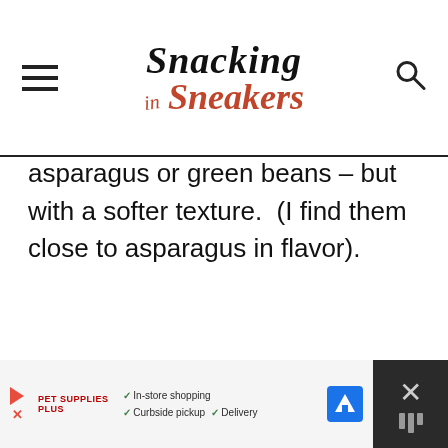Snacking in Sneakers
asparagus or green beans – but with a softer texture.  (I find them close to asparagus in flavor).
[Figure (other): Image placeholder area with three dots indicating a loading or carousel image area]
[Figure (other): Advertisement bar at bottom: In-store shopping, Curbside pickup, Delivery with navigation icon and close button]